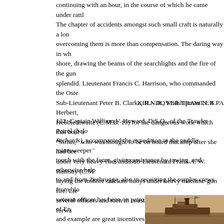continuing with an hour, in the course of which he came under rattl... The chapter of accidents amongst such small craft is naturally a long one, but the nerve and skill shown in overcoming them is more than compensation. The daring way in which these tiny craft crept in towards the shore, drawing the beams of the searchlights and the fire of the guns from the blockships, was simply splendid. Lieutenant Francis C. Harrison, who commanded the Oste... Sub-Lieutenant Peter B. Clarke, R.N.R., Midshipman N. S. Herbert, ... Hebblethwaite (C.M.B. 10) for the dangerous work which that boat u... "Sirius," who was thought to be on board that ship after she had bee... under very heavy-fire; and Sub-Lieutenant Frank A. W. Ramsay (C.M... laying the inshore calcium buoys under heavy machine-gun fire. Lie... several officers and men in coastal motor boats; these will be forwarded...
XIII.- DOVER TRAWLER PA...
122. Captain William V. Howard, D.S.O., of the Trawler Patrol (below Richards), accompanied the expedition in the paddle minesweeper '...' touch with the force, giving assistance by towing, and otherwise help... to and from Zeebrugge, also in receiving the surplus crews from blo... veteran officer has been on patrol work off the southeast coast of En... and example are great incentives to the officers and men of the Traw...
[Figure (photo): Sepia photograph of a naval trawler or paddle minesweeper vessel at sea, with masts, funnel, and rigging visible.]